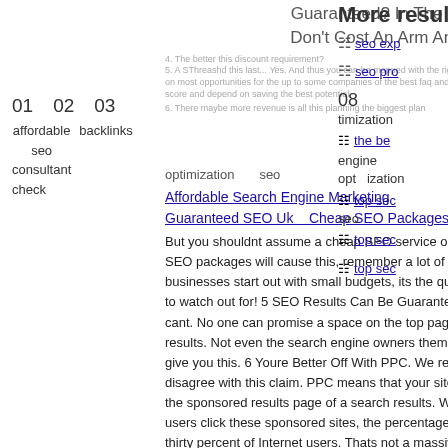Guaranteed? In The UK That Don't Cost An Arm And A Leg
More results f
01   02   03
affordable   backlinks   check
seo
consultant
optimization   seo
Affordable Search Engine Marketing Guaranteed SEO UkoCheap SEO Packages.
But you shouldnt assume a cheap SEO service or the cheapest SEO packages will cause this, remember a lot of small businesses start out with small budgets, its the quality you need to watch out for! 5 SEO Results Can Be Guaranteed. No, They cant. No one can promise a space on the top page of internet results. Not even the search engine owners themselves can give you this. 6 Youre Better Off With PPC. We respectfully disagree with this claim. PPC means that your site will appear in the sponsored results page of a search results. While some users click these sponsored sites, the percentage is around thirty percent of Internet users. Thats not a massive chunk of the market. 7 SEO Can Use Poor Quality Content. No, as we already said this will cause you to receive a penalty. Remember there are two types. One is for poor quality and the other is for SEO. 8 SEO Just Refers To Keywords. Incorrect, SEO is about a lot more things than implementing keywords. In fact, while keywords are a good start the best marketers use a whole bunch of SEO tools.
08
timization
seo pro
the be
engine
optimization
seo
top sec
top sec
top sec
Cheap SEO Services - Low Cost Highly Rated SEO Company in Leicester, UK.
SEO Starter Package, Local SEO Packag...